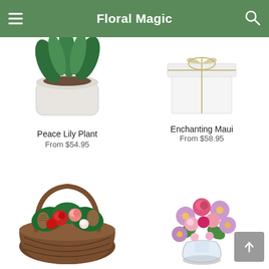Floral Magic
[Figure (photo): Peace Lily Plant in white basket pot, partially visible at top]
Peace Lily Plant
From $54.95
[Figure (photo): Enchanting Maui gift box with ribbon, partially visible at top]
Enchanting Maui
From $58.95
[Figure (photo): Christmas flower basket with red roses, carnations, pine cones and evergreens in wicker basket]
[Figure (photo): Pink and purple mixed flower bouquet with roses and daisies in clear vase]